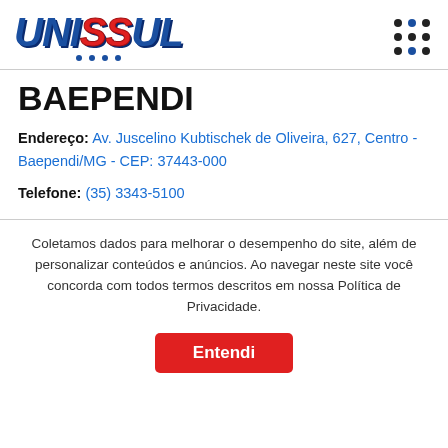[Figure (logo): UNISSUL logo with blue and red letters, italic bold text]
BAEPENDI
Endereço: Av. Juscelino Kubtischek de Oliveira, 627, Centro - Baependi/MG - CEP: 37443-000
Telefone: (35) 3343-5100
Coletamos dados para melhorar o desempenho do site, além de personalizar conteúdos e anúncios. Ao navegar neste site você concorda com todos termos descritos em nossa Política de Privacidade.
Entendi